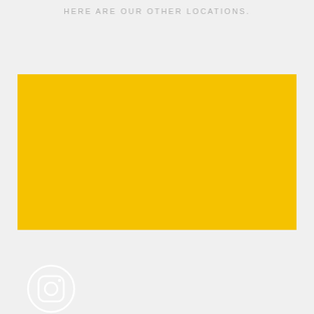HERE ARE OUR OTHER LOCATIONS.
[Figure (illustration): Large yellow/golden rectangle banner area with an Instagram icon (circle with camera outline) in the lower-left corner, white outlines on yellow background]